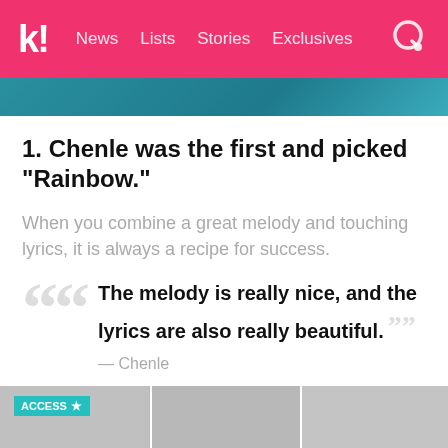k! News Lists Stories Exclusives
[Figure (photo): Teal/blue image strip at top of article]
1. Chenle was the first and picked “Rainbow.”
When you combine a great melody and touching lyrics, it is always a recipe for success.
“The melody is really nice, and the lyrics are also really beautiful.” — Chenle
[Figure (photo): Bottom image showing multiple people, with ACCESS star badge in top-left corner]